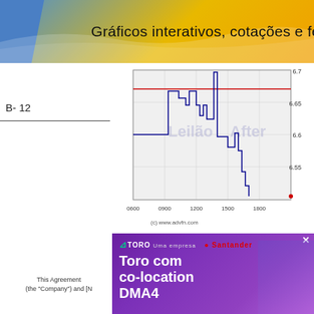Gráficos interativos, cotações e ferram
[Figure (continuous-plot): Line chart showing stock price movements during trading day. X-axis shows time from 0600 to 1800. Y-axis shows price from 6.55 to 6.7. Blue step line showing price fluctuation, red horizontal reference line at ~6.635. Labels 'Leilão' and 'After' on chart. Red dot at end around 6.55. Copyright (c) www.advfn.com]
B- 12
[Figure (photo): Advertisement for Toro co-location DMA4. Purple/violet gradient background with text 'Toro com co-location DMA4' in white bold font. Toro logo with Santander partnership at top. Person visible at right side.]
This Agreement (the "Company") and [N